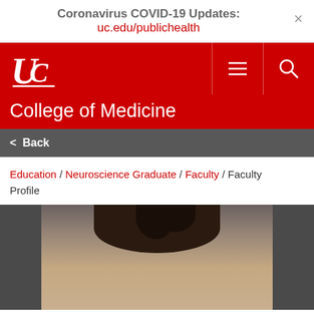Coronavirus COVID-19 Updates: uc.edu/publichealth
[Figure (logo): University of Cincinnati UC logo in white on red navigation bar with hamburger menu and search icons]
College of Medicine
< Back
Education / Neuroscience Graduate / Faculty / Faculty Profile
[Figure (photo): Faculty profile photo showing a person with dark hair, partially cropped, against a neutral background]